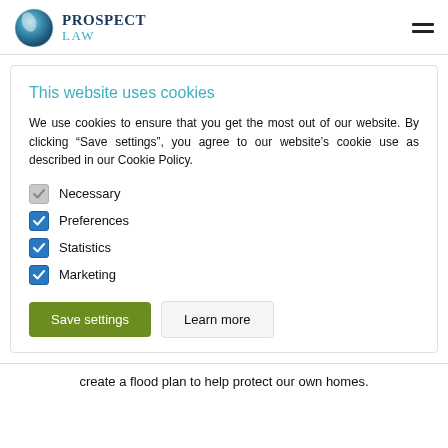[Figure (logo): Prospect Law logo with circular globe icon and text 'PROSPECT LAW']
This website uses cookies
We use cookies to ensure that you get the most out of our website. By clicking “Save settings”, you agree to our website’s cookie use as described in our Cookie Policy.
Necessary
Preferences
Statistics
Marketing
Save settings   Learn more
create a flood plan to help protect our own homes.